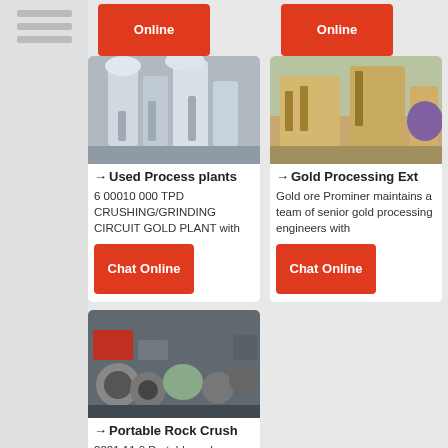[Figure (other): Sidebar with three horizontal lines/bars icon]
Chat Online
Chat Online
[Figure (photo): Industrial processing plant with pipes and machinery indoors]
→ Used Process plants
6 00010 000 TPD CRUSHING/GRINDING CIRCUIT GOLD PLANT with
Chat Online
[Figure (photo): Gold processing equipment outdoors, yellow metal framework with machinery]
→ Gold Processing Ext
Gold ore Prominer maintains a team of senior gold processing engineers with
Chat Online
[Figure (photo): Portable rock crusher machinery parts laid out on ground]
→ Portable Rock Crush
2021 11 3 Portable rock crusher is designed to mainly crush coarse minerals like